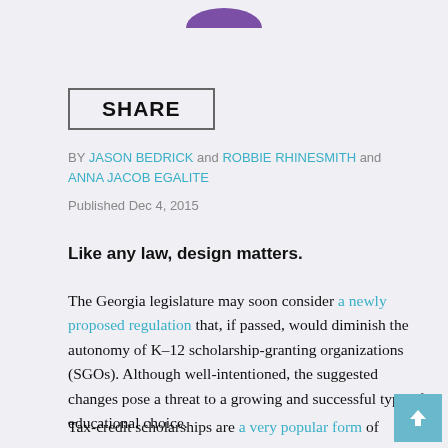SHARE
BY JASON BEDRICK and ROBBIE RHINESMITH and ANNA JACOB EGALITE
Published Dec 4, 2015
Like any law, design matters.
The Georgia legislature may soon consider a newly proposed regulation that, if passed, would diminish the autonomy of K–12 scholarship-granting organizations (SGOs). Although well-intentioned, the suggested changes pose a threat to a growing and successful type of educational choice.
Tax-credit scholarships are a very popular form of